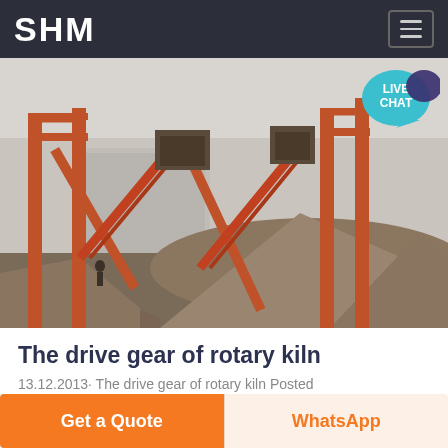SHM
[Figure (photo): Industrial mining or aggregate processing facility with orange steel structures, conveyor belts, and large piles of crushed stone/gravel material outdoors]
The drive gear of rotary kiln
13.12.2013· The drive gear of rotary kiln Posted
Get a Quote
WhatsApp